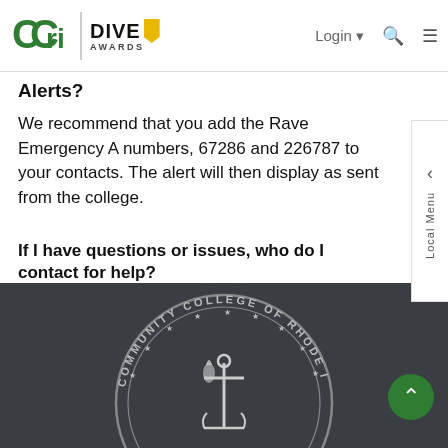CCRI | DIVE AWARDS — Login, Search, Menu navigation bar
Alerts?
We recommend that you add the Rave Emergency A numbers, 67286 and 226787 to your contacts. The alert will then display as sent from the college.
If I have questions or issues, who do I contact for help?
If you need assistance, visit www.ccri.edu/it/helpdesk or call 401-825-1112.
[Figure (logo): Community College of Rhode Island seal/logo on dark background footer]